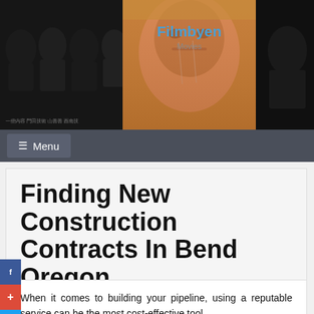Filmbyen | Movies
[Figure (photo): Website header banner with dark film noir style collage of faces on left and right, center shows a close-up face with orange tones, site name 'Filmbyen' in blue text and 'Movies' subtitle below]
Menu
Finding New Construction Contracts In Bend Oregon
June 3, 2022  Herbert Cruz
When it comes to building your pipeline, using a reputable service can be the most cost-effective tool